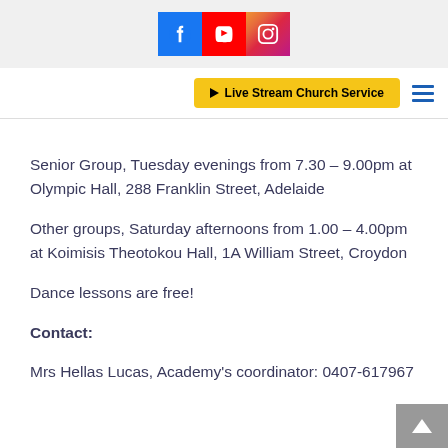[Figure (other): Social media icons: Facebook (blue), YouTube (red), Instagram (gradient) displayed in a grey header bar]
[Figure (other): Navigation bar with a yellow 'Live Stream Church Service' button with play icon, and a blue hamburger menu icon on the right]
Senior Group, Tuesday evenings from 7.30 – 9.00pm at Olympic Hall, 288 Franklin Street, Adelaide
Other groups, Saturday afternoons from 1.00 – 4.00pm at Koimisis Theotokou Hall, 1A William Street, Croydon
Dance lessons are free!
Contact:
Mrs Hellas Lucas, Academy's coordinator: 0407-617967